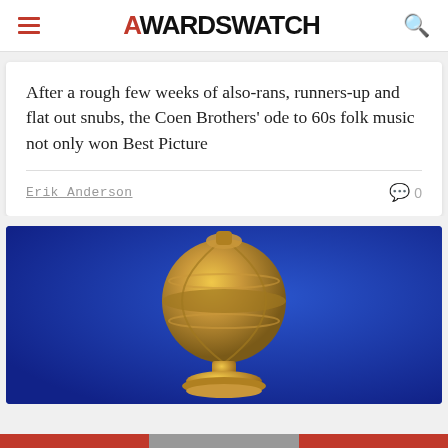AWARDSWATCH
After a rough few weeks of also-rans, runners-up and flat out snubs, the Coen Brothers' ode to 60s folk music not only won Best Picture
Erik Anderson   0
[Figure (photo): Golden Globe award trophy — a golden globe on a pedestal against a blue background]